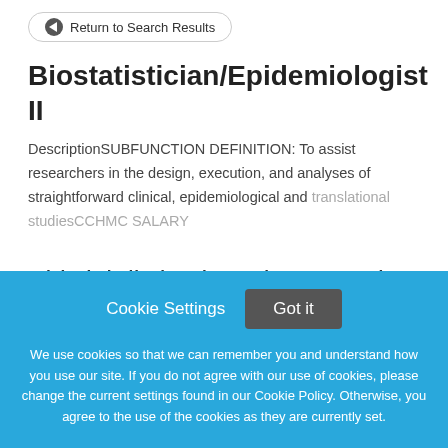Return to Search Results
Biostatistician/Epidemiologist II
DescriptionSUBFUNCTION DEFINITION: To assist researchers in the design, execution, and analyses of straightforward clinical, epidemiological and translational studiesCCHMC SALARY
This job listing is no longer active.
Cookie Settings  Got it
We use cookies so that we can remember you and understand how you use our site. If you do not agree with our use of cookies, please change the current settings found in our Cookie Policy. Otherwise, you agree to the use of the cookies as they are currently set.